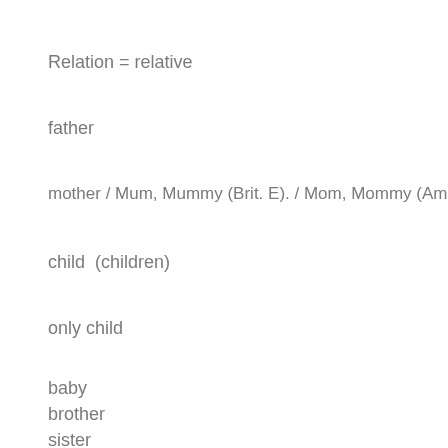Relation = relative
father
mother / Mum, Mummy (Brit. E). / Mom, Mommy (Am. E.)
child  (children)
only child
baby
brother
sister